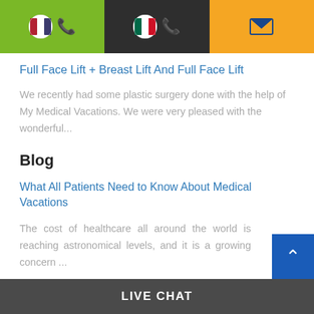[Figure (other): Top navigation bar with three segments: green with US flag and phone icon, dark with Mexican flag and phone icon, orange with email icon]
Full Face Lift + Breast Lift And Full Face Lift
We recently had some plastic surgery done with the help of My Medical Vacations. We were very pleased with the wonderful...
Blog
What All Patients Need to Know About Medical Vacations
The cost of healthcare all around the world is reaching astronomical levels, and it is a growing concern ...
LIVE CHAT